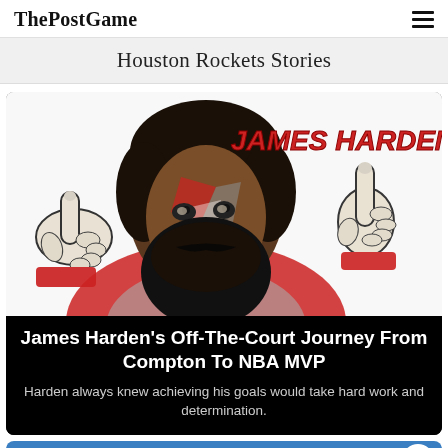ThePostGame
Houston Rockets Stories
[Figure (illustration): Illustrated portrait of James Harden with red stylized text 'JAMES HARDEN' in upper right, showing the basketball player with beard and pointing fingers, in a comic/graphic art style.]
James Harden's Off-The-Court Journey From Compton To NBA MVP
Harden always knew achieving his goals would take hard work and determination.
[Figure (illustration): Partial bottom card with blue background showing text '5 BIGGEST LOSERS FROM' and a circular logo in the bottom right corner.]